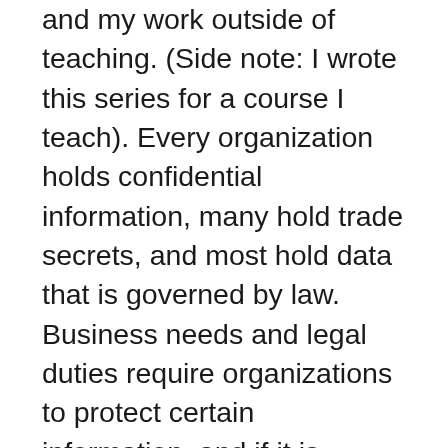and my work outside of teaching. (Side note: I wrote this series for a course I teach). Every organization holds confidential information, many hold trade secrets, and most hold data that is governed by law. Business needs and legal duties require organizations to protect certain information, and if it is compromised by breach, to investigate and report. All of this means that every organization should devote reasonable resources to improving their security and protecting confidential information and data...